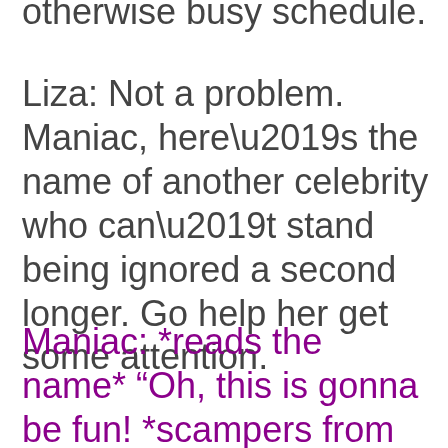otherwise busy schedule.
Liza: Not a problem. Maniac, here’s the name of another celebrity who can’t stand being ignored a second longer. Go help her get some attention.
Maniac: *reads the name* “Oh, this is gonna be fun! *scampers from room*